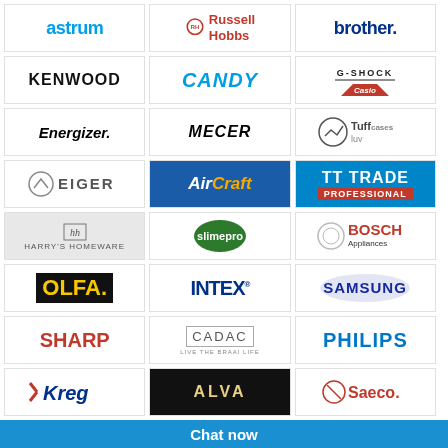[Figure (logo): Grid of brand logos: astrum, Russell Hobbs, brother, KENWOOD, CANDY, G-SHOCK, Energizer, MECER, Tuffluv, EIGER, AirCraft, Trade Professional, Harry's Homeware, slimepro, BOSCH Appliances, OLFA, INTEX, Samsung, SHARP, CADAC, PHILIPS, Kreg, ALVA, Saeco]
Chat now